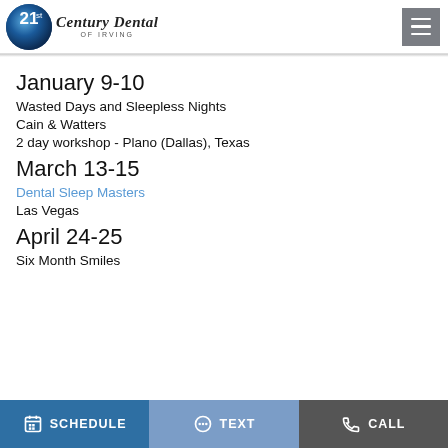[Figure (logo): 21st Century Dental of Irving logo with blue circle and script text]
January 9-10
Wasted Days and Sleepless Nights
Cain & Watters
2 day workshop - Plano (Dallas), Texas
March 13-15
Dental Sleep Masters
Las Vegas
April 24-25
Six Month Smiles
SCHEDULE   TEXT   CALL